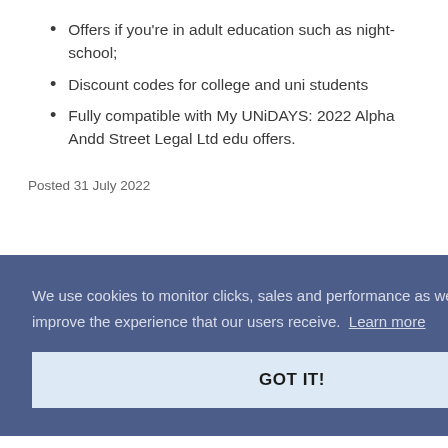Offers if you're in adult education such as night-school;
Discount codes for college and uni students
Fully compatible with My UNiDAYS: 2022 Alpha Andd Street Legal Ltd edu offers.
Posted 31 July 2022
We use cookies to monitor clicks, sales and performance as well as to optimise & improve the experience that our users receive. Learn more
GOT IT!